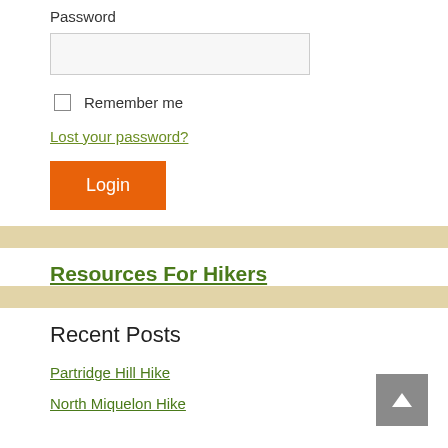Password
Remember me
Lost your password?
Login
Resources For Hikers
Recent Posts
Partridge Hill Hike
North Miquelon Hike